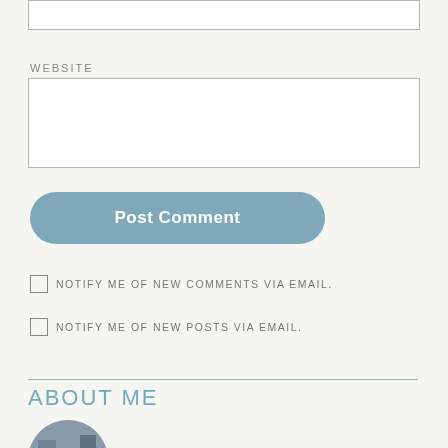[Figure (other): Top input field (text box, partially visible at top of page)]
WEBSITE
[Figure (other): Website input field (empty text box)]
Post Comment
NOTIFY ME OF NEW COMMENTS VIA EMAIL.
NOTIFY ME OF NEW POSTS VIA EMAIL.
ABOUT ME
[Figure (photo): Circular avatar photo, partially visible at bottom of page]